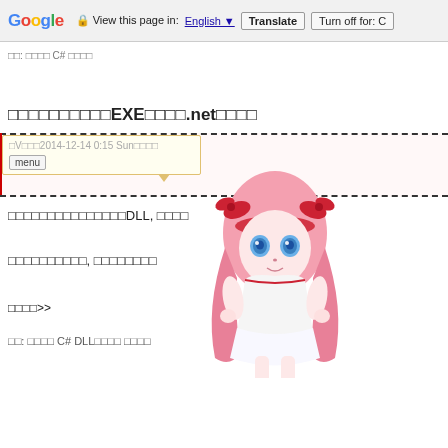Google Translate bar: View this page in: English | Translate | Turn off for: C
□□: □□□□ C# □□□□
□□□□□□□□□□EXE□□□□.net□□□□
□□□□
□V□□□2014-12-14 0:15 Sun□□□□
menu
□□□□□□□□□□□□□□□DLL, □□□□
□□□□□□□□□□, □□□□□□□□
□□□□>>
□□: □□□□ C# DLL□□□□ □□□□
[Figure (illustration): Anime-style chibi character with pink hair, blue eyes, wearing a white and red outfit with red bow accessories]